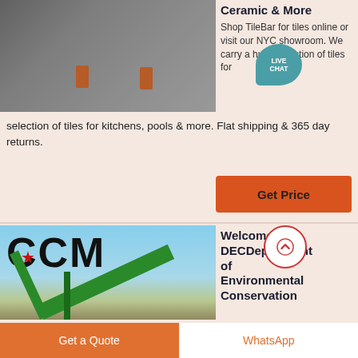[Figure (photo): Mining or quarry machinery with workers in orange safety vests in foreground]
Ceramic & More
Shop TileBar for tiles online or visit our NYC showroom. We carry a huge selection of tiles for kitchens, pools & more. Flat shipping & 365 day returns.
[Figure (other): Live Chat speech bubble icon]
Get Price
[Figure (photo): CCM logo with green conveyor crane machinery against blue sky]
Welcome to DECDepartment of Environmental Conservation
[Figure (other): Scroll up arrow button circle]
Get a Quote
WhatsApp